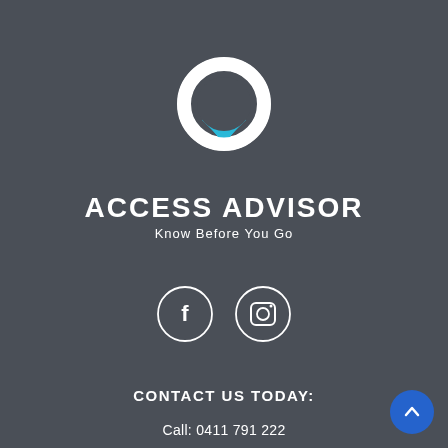[Figure (logo): Access Advisor logo: white circular ring with a cyan/blue chevron/check shape at the bottom, forming a person/location pin icon]
ACCESS ADVISOR
Know Before You Go
[Figure (illustration): Two circular social media icons side by side: a Facebook icon (f) and an Instagram icon (camera), both in white outline on the dark background]
CONTACT US TODAY:
Call: 0411 791 222
Email: info@accessadvisor.com.au